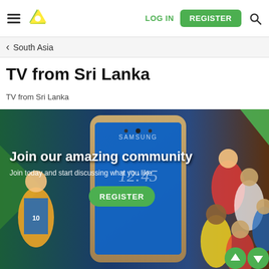LOG IN | REGISTER
< South Asia
TV from Sri Lanka
TV from Sri Lanka
[Figure (photo): Promotional banner showing a Samsung smartphone surrounded by football players in various national jerseys. Text overlay reads 'Join our amazing community' and 'Join today and start discussing what you like' with a green REGISTER button.]